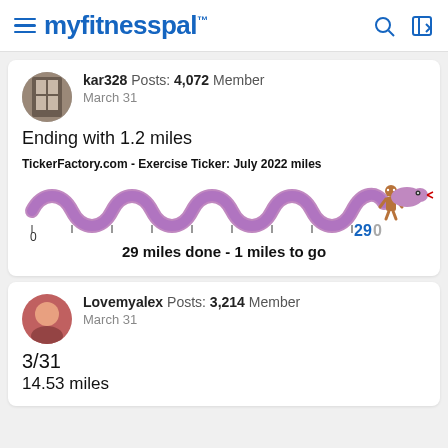myfitnesspal
kar328  Posts: 4,072  Member
March 31
Ending with 1.2 miles
[Figure (illustration): TickerFactory.com Exercise Ticker showing a purple snake progress bar for July 2022 miles, with scale from 0 to 30, showing 29 miles done and 1 mile to go. A gingerbread man and snake head decoration at the end.]
Lovemyalex  Posts: 3,214  Member
March 31
3/31
14.53 miles